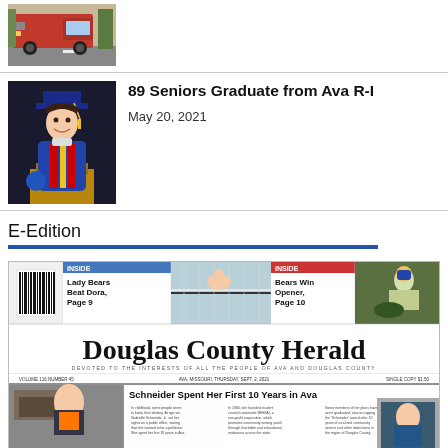[Figure (photo): Partial view of a red pickup truck parked on a street]
[Figure (photo): A female student in blue graduation cap and gown standing at a podium]
89 Seniors Graduate from Ava R-I
May 20, 2021
E-Edition
[Figure (photo): Thumbnail of Douglas County Herald newspaper front page showing masthead and story 'Schneider Spent Her First 10 Years in Ava']